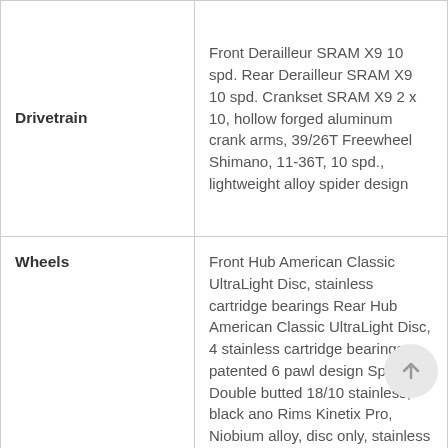| Component | Description |
| --- | --- |
| Drivetrain | Front Derailleur SRAM X9 10 spd. Rear Derailleur SRAM X9 10 spd. Crankset SRAM X9 2 x 10, hollow forged aluminum crank arms, 39/26T Freewheel Shimano, 11-36T, 10 spd., lightweight alloy spider design |
| Wheels | Front Hub American Classic UltraLight Disc, stainless cartridge bearings Rear Hub American Classic UltraLight Disc, 4 stainless cartridge bearings, patented 6 pawl design Spokes Double butted 18/10 stainless, black ano Rims Kinetix Pro, Niobium alloy, disc only, stainless eyelets Tires Schwalbe Rocket Ron, 26 x 2.1" |